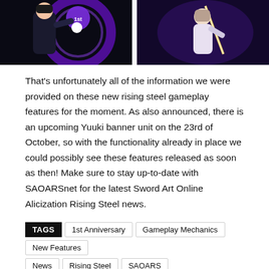[Figure (photo): Two anime screenshots side by side: left shows a male character with a glowing purple circular interface, right shows a female character in a white outfit with a glowing sword in a purple-lit scene.]
That's unfortunately all of the information we were provided on these new rising steel gameplay features for the moment. As also announced, there is an upcoming Yuuki banner unit on the 23rd of October, so with the functionality already in place we could possibly see these features released as soon as then! Make sure to stay up-to-date with SAOARSnet for the latest Sword Art Online Alicization Rising Steel news.
TAGS  1st Anniversary  Gameplay Mechanics  New Features  News  Rising Steel  SAOARS  Sword Art Online